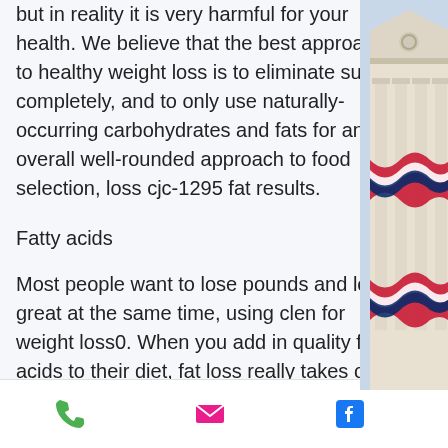but in reality it is very harmful for your health. We believe that the best approach to healthy weight loss is to eliminate sugar completely, and to only use naturally-occurring carbohydrates and fats for an overall well-rounded approach to food selection, loss cjc-1295 fat results.
Fatty acids
Most people want to lose pounds and look great at the same time, using clen for weight loss0. When you add in quality fatty acids to their diet, fat loss really takes off as opposed to adding sugar, cjc-1295 fat loss results. Our fats are rich in saturated fat (with the exception of palm oil which has a high fructose content), monounsaturated fat and a good proportion of carbohydrates and proteins
[Figure (photo): Photo of a building with classical columns and patriotic bunting decorations, partially visible on the right side of the page]
Phone | Email | Facebook icons